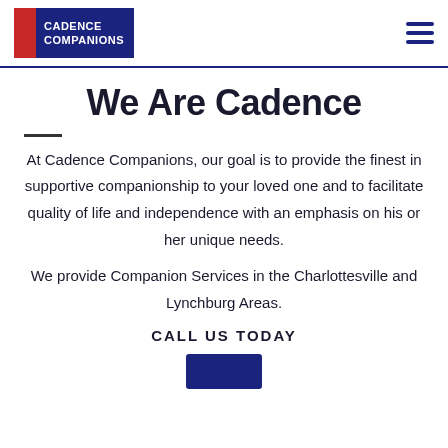[Figure (logo): Cadence Companions logo with red and navy blue blocks and white text]
We Are Cadence
At Cadence Companions, our goal is to provide the finest in supportive companionship to your loved one and to facilitate quality of life and independence with an emphasis on his or her unique needs.
We provide Companion Services in the Charlottesville and Lynchburg Areas.
CALL US TODAY